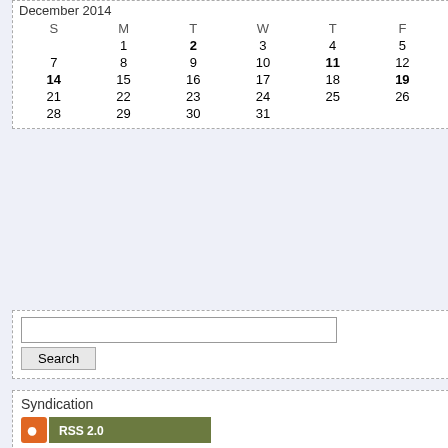| S | M | T | W | T | F | S |
| --- | --- | --- | --- | --- | --- | --- |
|  | 1 | 2 | 3 | 4 | 5 | 6 |
| 7 | 8 | 9 | 10 | 11 | 12 | 13 |
| 14 | 15 | 16 | 17 | 18 | 19 | 20 |
| 21 | 22 | 23 | 24 | 25 | 26 | 27 |
| 28 | 29 | 30 | 31 |  |  |  |
Search
Syndication
Flash and Arrow two part crossover e... of SHIELD that doesn't resonate. So "Dozer Sad" Robinson, and Andy "NB...
Arkham Origins (Gotham) NO NEW B
Agents Assemble (Agents of SHIELD...
Rogue's Gallery (Flash)
Under the Hood (Arrow)
Raising Hellblazer (Constantine)
E-mail us at nolanerdcast@gmail.com View us at www.youtube.com/nolanerdcast
Direct download: TV_shows_6.m4a Category: general -- posted at: 8:48pm EDT
Fri, 5 December 2014
Comics Episode 15
We have entered December territory! choose the best books of the year! Bu... discuss the continuing greatness of th... Gotham Academy, enjoy a two-fer of ... Gail Simone's Secret Six. So join NO... Robinson and guest star Andy "John...